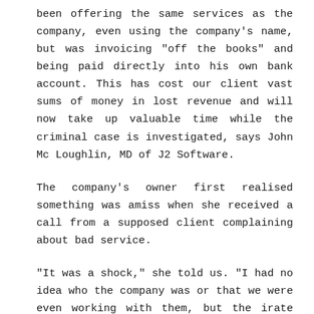been offering the same services as the company, even using the company's name, but was invoicing "off the books" and being paid directly into his own bank account. This has cost our client vast sums of money in lost revenue and will now take up valuable time while the criminal case is investigated, says John Mc Loughlin, MD of J2 Software.
The company's owner first realised something was amiss when she received a call from a supposed client complaining about bad service.
"It was a shock," she told us. "I had no idea who the company was or that we were even working with them, but the irate 'client' assured me not only had they been using our services, they had been paying for them. Yet I had no record of these claims."